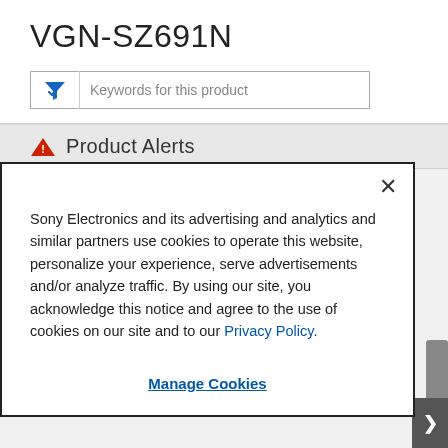VGN-SZ691N
[Figure (screenshot): Search/filter input bar with funnel icon and placeholder text 'Keywords for this product']
Product Alerts
Sony Electronics and its advertising and analytics and similar partners use cookies to operate this website, personalize your experience, serve advertisements and/or analyze traffic. By using our site, you acknowledge this notice and agree to the use of cookies on our site and to our Privacy Policy.
Manage Cookies